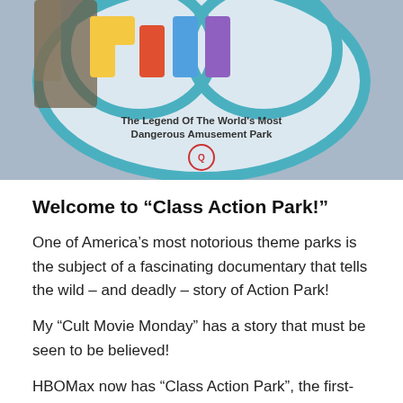[Figure (photo): Photo of a heart-shaped sign for 'Action Park: The Legend Of The World's Most Dangerous Amusement Park' with colorful 3D letters and a small logo at the bottom, set against a gray sky background.]
Welcome to “Class Action Park!”
One of America’s most notorious theme parks is the subject of a fascinating documentary that tells the wild – and deadly – story of Action Park!
My “Cult Movie Monday” has a story that must be seen to be believed!
HBOMax now has “Class Action Park”, the first-ever feature-length documentary to explore the legend, legacy